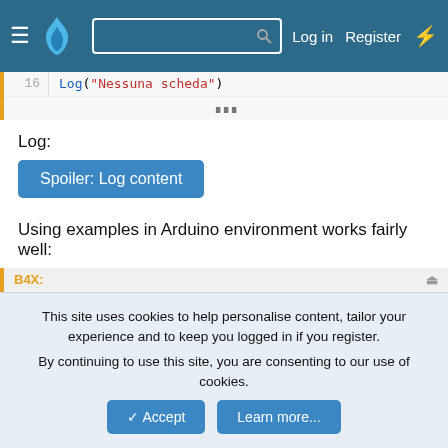Navigation bar with hamburger menu, logo, search box, Log in, Register, and lightning bolt icon
[Figure (screenshot): Code block showing line 16 with Log("Nessuna scheda") in monospace, orange B4X label, with expand dots]
Log:
Spoiler: Log content
Using examples in Arduino environment works fairly well:
[Figure (screenshot): Code block with B4X label showing lines 1-4: line 1 'Initializing SD card...Wiring is correct and a ca', line 2 blank, line 3 'Card type: SD2', line 4 partial]
This site uses cookies to help personalise content, tailor your experience and to keep you logged in if you register.
By continuing to use this site, you are consenting to our use of cookies.